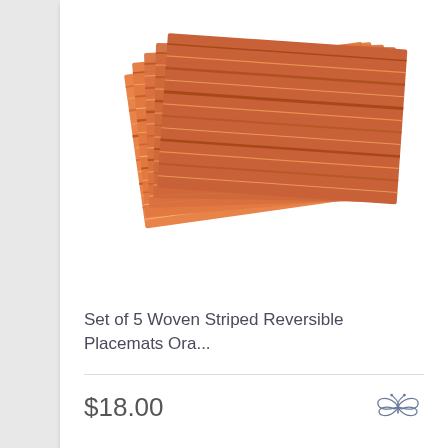[Figure (photo): Stack of orange/red woven striped reversible placemats fanned out on white background]
Set of 5 Woven Striped Reversible Placemats Ora...
$18.00
[Figure (photo): Cream/ivory embroidered rectangular placemat or clutch on black background]